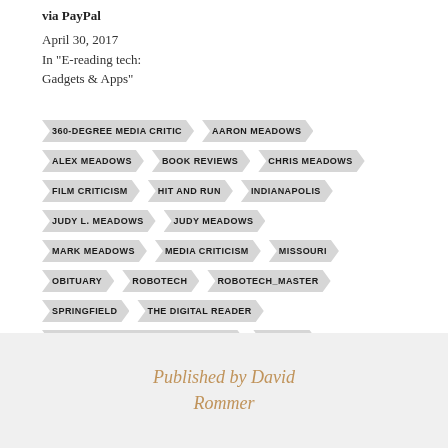via PayPal
April 30, 2017
In "E-reading tech: Gadgets & Apps"
360-DEGREE MEDIA CRITIC
AARON MEADOWS
ALEX MEADOWS
BOOK REVIEWS
CHRIS MEADOWS
FILM CRITICISM
HIT AND RUN
INDIANAPOLIS
JUDY L. MEADOWS
JUDY MEADOWS
MARK MEADOWS
MEDIA CRITICISM
MISSOURI
OBITUARY
ROBOTECH
ROBOTECH_MASTER
SPRINGFIELD
THE DIGITAL READER
THE GEEK'S GUIDE TO INDIANAPOLIS
TRIBUTE
Published by David Rommer